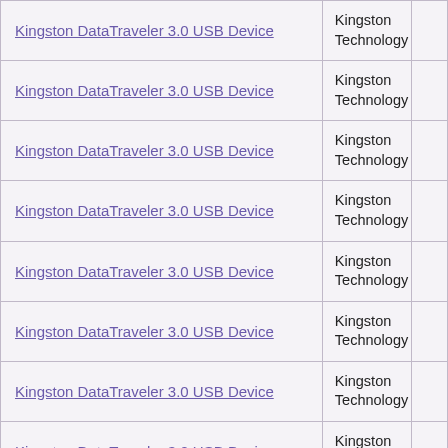| Product | Manufacturer |  |
| --- | --- | --- |
| Kingston DataTraveler 3.0 USB Device | Kingston Technology |  |
| Kingston DataTraveler 3.0 USB Device | Kingston Technology |  |
| Kingston DataTraveler 3.0 USB Device | Kingston Technology |  |
| Kingston DataTraveler 3.0 USB Device | Kingston Technology |  |
| Kingston DataTraveler 3.0 USB Device | Kingston Technology |  |
| Kingston DataTraveler 3.0 USB Device | Kingston Technology |  |
| Kingston DataTraveler 3.0 USB Device | Kingston Technology |  |
| Kingston DataTraveler 3.0 USB Device | Kingston Technology |  |
| Kingston DataTraveler 3.0 USB Device | Kingston Technology |  |
| Kingston DataTraveler 3.0 USB Device | Kingston Technology |  |
| Kingston DataTraveler 3.0 USB Device | Kingston Technology |  |